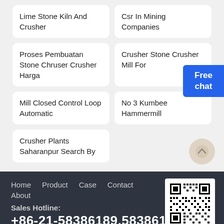Lime Stone Kiln And Crusher
Csr In Mining Companies
Proses Pembuatan Stone Chruser Crusher Harga
Crusher Stone Crusher Mill For
Mill Closed Control Loop Automatic
No 3 Kumbee Hammermill
Crusher Plants Saharanpur Search By
Home   Product   Case   Contact   About
Sales Hotline:
+86-21-58386189,58386176